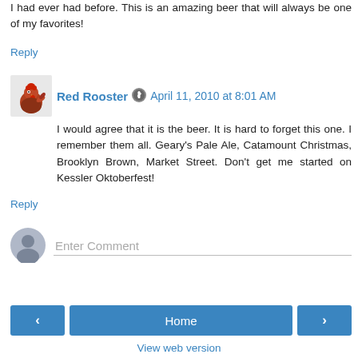I had ever had before. This is an amazing beer that will always be one of my favorites!
Reply
Red Rooster · April 11, 2010 at 8:01 AM
I would agree that it is the beer. It is hard to forget this one. I remember them all. Geary's Pale Ale, Catamount Christmas, Brooklyn Brown, Market Street. Don't get me started on Kessler Oktoberfest!
Reply
Enter Comment
Home
View web version